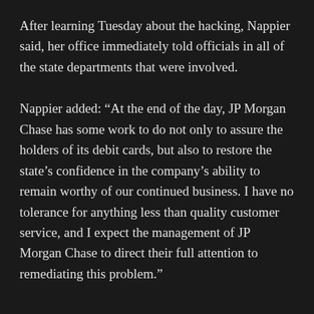After learning Tuesday about the hacking, Nappier said, her office immediately told officials in all of the state departments that were involved.
Nappier added: “At the end of the day, JP Morgan Chase has some work to do not only to assure the holders of its debit cards, but also to restore the state’s confidence in the company’s ability to remain worthy of our continued business. I have no tolerance for anything less than quality customer service, and I expect the management of JP Morgan Chase to direct their full attention to remediating this problem.”